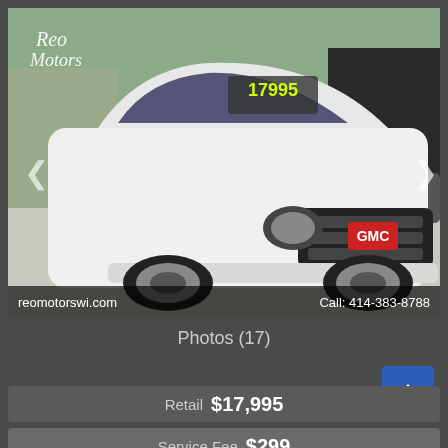[Figure (photo): White GMC Acadia SUV parked in a dealer lot with a price sticker showing 17995 on the windshield. Reo Motors logo in top left. Two other cars visible in the background.]
reomotorswi.com
Call: 414-383-8788
Photos (17)
Retail  $17,995
Service Fee  $299